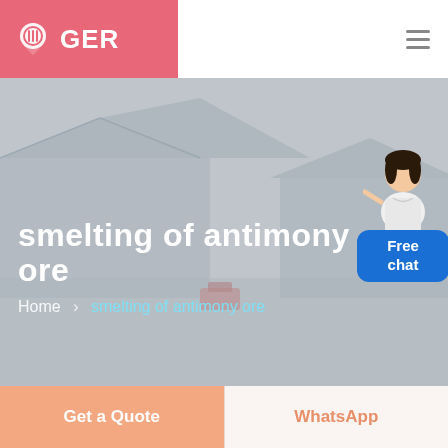GER
[Figure (screenshot): Website hero banner showing an industrial facility/warehouse in a muted gray-pink tone, with a customer service representative illustration and a blue 'Free chat' button overlay on the right side.]
smelting of antimony ore
Home > smelting of antimony ore
Get a Quote
WhatsApp